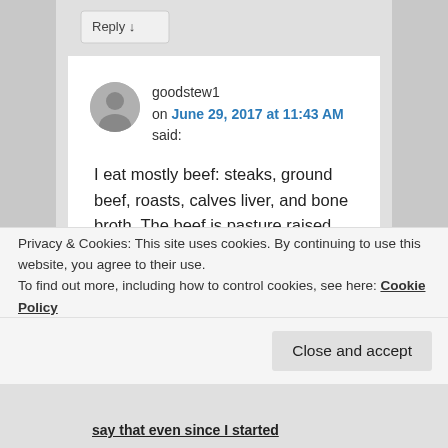[Figure (screenshot): Reply button with downward arrow]
goodstew1 on June 29, 2017 at 11:43 AM said:
I eat mostly beef: steaks, ground beef, roasts, calves liver, and bone broth. The beef is pasture raised angus. I also like pork, especially slow cooked pork shoulder (which I typically would eat w kraut but no kraut when I'm doing 0-carb) it's also a very fatty cut and I love the
Privacy & Cookies: This site uses cookies. By continuing to use this website, you agree to their use.
To find out more, including how to control cookies, see here: Cookie Policy
Close and accept
say that even since I started